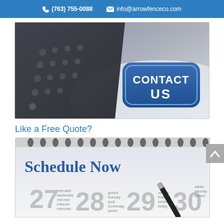(763) 755-0088   info@arrowfenceco.com
[Figure (photo): Phone/keyboard next to a blue rounded-rectangle badge reading CONTACT US]
Like a Free Quote?
[Figure (photo): Spiral-bound planner showing days 27, 28, 29 with a pen, overlaid with text Schedule Now]